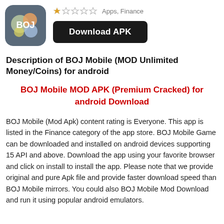[Figure (logo): BOJ Mobile app icon with colorful bubble shapes on dark gray background with rounded corners]
★☆☆☆☆  Apps, Finance
Download APK
Description of BOJ Mobile (MOD Unlimited Money/Coins) for android
BOJ Mobile MOD APK (Premium Cracked) for android Download
BOJ Mobile (Mod Apk) content rating is Everyone. This app is listed in the Finance category of the app store. BOJ Mobile Game can be downloaded and installed on android devices supporting 15 API and above. Download the app using your favorite browser and click on install to install the app. Please note that we provide original and pure Apk file and provide faster download speed than BOJ Mobile mirrors. You could also BOJ Mobile Mod Download and run it using popular android emulators.